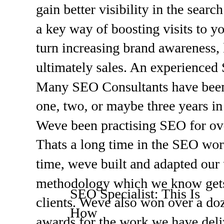gain better visibility in the search engines. This is a key way of boosting visits to your website, in turn increasing brand awareness, leads, and ultimately sales. An experienced SEO Consultant. Many SEO Consultants have been working for one, two, or maybe three years in the industry. Weve been practising SEO for over 10 years now. Thats a long time in the SEO world. Over this time, weve built and adapted our unique methodology which we know gets results for clients. Weve also won over a dozen industry awards for the work we have delivered for our clients. If you lack the time and technical expertise to improve your sites search engine ranking, working with an experienced, reliable search engine optimization SEO consultant is a strong option.
SEO Specialist: This Is How